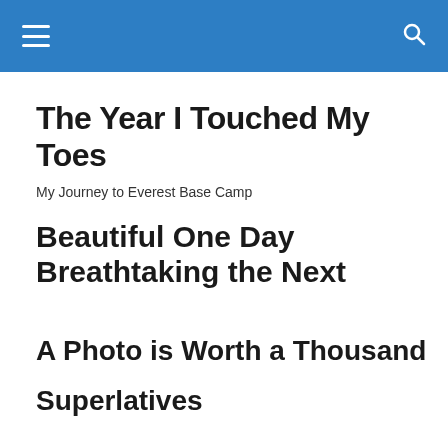The Year I Touched My Toes
My Journey to Everest Base Camp
Beautiful One Day Breathtaking the Next
A Photo is Worth a Thousand
Superlatives
[Figure (photo): Blue gradient sky/landscape photo partially visible at the bottom of the page]